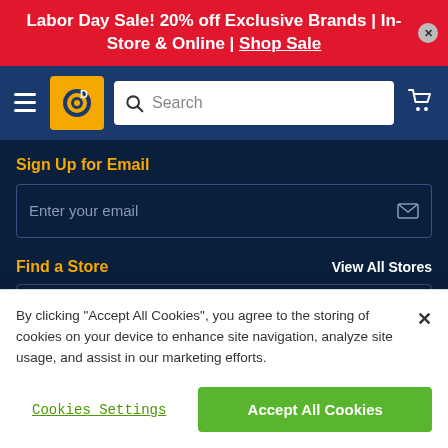Labor Day Sale! 20% off Exclusive Brands | In-Store & Online | Shop Sale
[Figure (screenshot): Website navigation bar with hamburger menu, Discount Tire logo, search bar, and cart icon on dark blue background]
Sign Up for Email
Enter your email
Find a Store
View All Stores
By clicking "Accept All Cookies", you agree to the storing of cookies on your device to enhance site navigation, analyze site usage, and assist in our marketing efforts.
Cookies Settings
Accept All Cookies